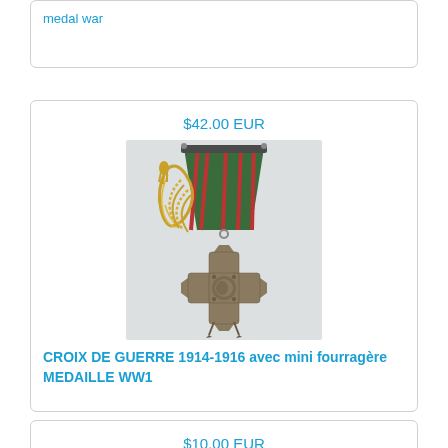medal war
$42.00 EUR
[Figure (photo): Croix de Guerre 1914-1916 medal with mini fourragère (braided cord). Shows a striped green and red ribbon with decorative braided cords attached, and a bronze cross-shaped medal pendant with a central medallion and sword points.]
CROIX DE GUERRE 1914-1916 avec mini fourragère MEDAILLE WW1
$10.00 EUR